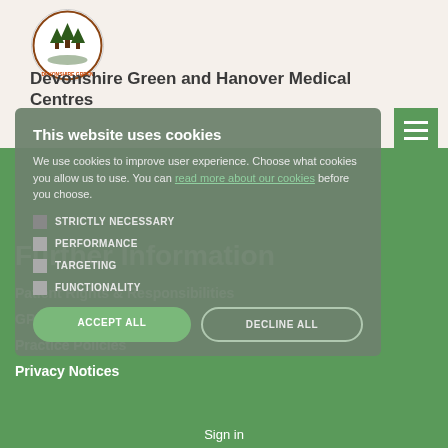[Figure (logo): Devonshire Green and Hanover Medical Centres circular logo with tree/forest imagery]
Devonshire Green and Hanover Medical Centres
Further Information
Patient Rights & Responsibilities
GP Earnings
Practice Policies
Privacy Notices
This website uses cookies
We use cookies to improve user experience. Choose what cookies you allow us to use. You can read more about our cookies before you choose.
STRICTLY NECESSARY
PERFORMANCE
TARGETING
FUNCTIONALITY
ACCEPT ALL
DECLINE ALL
Sign in